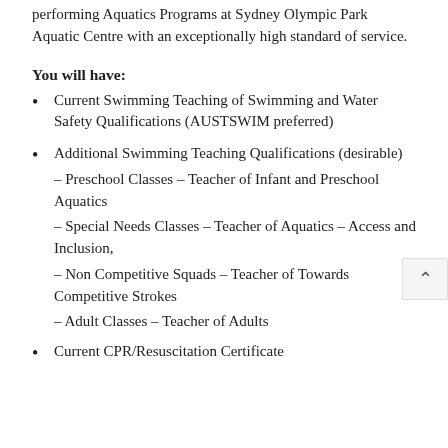performing Aquatics Programs at Sydney Olympic Park Aquatic Centre with an exceptionally high standard of service.
You will have:
Current Swimming Teaching of Swimming and Water Safety Qualifications (AUSTSWIM preferred)
Additional Swimming Teaching Qualifications (desirable)
– Preschool Classes – Teacher of Infant and Preschool Aquatics
– Special Needs Classes – Teacher of Aquatics – Access and Inclusion,
– Non Competitive Squads – Teacher of Towards Competitive Strokes
– Adult Classes – Teacher of Adults
Current CPR/Resuscitation Certificate